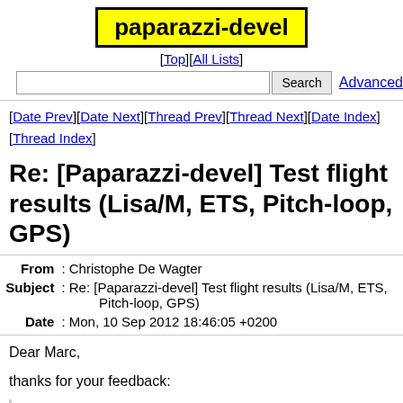paparazzi-devel
[Top][All Lists]
[Date Prev][Date Next][Thread Prev][Thread Next][Date Index][Thread Index]
Re: [Paparazzi-devel] Test flight results (Lisa/M, ETS, Pitch-loop, GPS)
| Field | Value |
| --- | --- |
| From | Christophe De Wagter |
| Subject | Re: [Paparazzi-devel] Test flight results (Lisa/M, ETS, Pitch-loop, GPS) |
| Date | Mon, 10 Sep 2012 18:46:05 +0200 |
Dear Marc,
thanks for your feedback:
1. Probably most interesting because related to recent discussions: Pitch loop. I started manually and commanded to